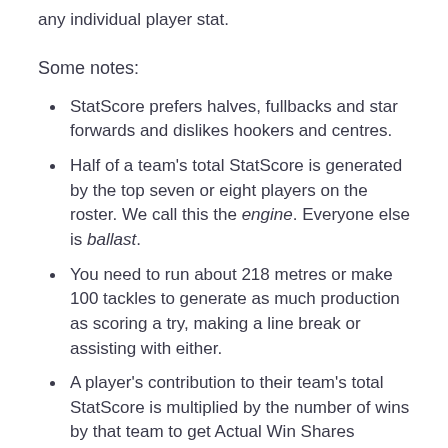any individual player stat.
Some notes:
StatScore prefers halves, fullbacks and star forwards and dislikes hookers and centres.
Half of a team's total StatScore is generated by the top seven or eight players on the roster. We call this the engine. Everyone else is ballast.
You need to run about 218 metres or make 100 tackles to generate as much production as scoring a try, making a line break or assisting with either.
A player's contribution to their team's total StatScore is multiplied by the number of wins by that team to get Actual Win Shares (AWS). This is an estimate of how many wins that player is directly responsible for.
StatScore is not adjusted for time on the field, so the more you play, the more stats you'll rack up, the